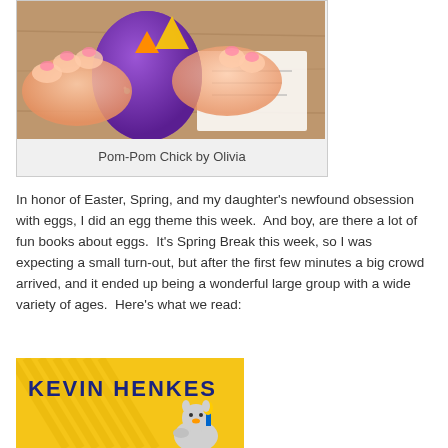[Figure (photo): Photo of hands holding a purple plastic Easter egg with an orange beak and yellow triangle, appearing to be a chick craft. A card is visible in the background on a wooden surface.]
Pom-Pom Chick by Olivia
In honor of Easter, Spring, and my daughter’s newfound obsession with eggs, I did an egg theme this week.  And boy, are there a lot of fun books about eggs.  It’s Spring Break this week, so I was expecting a small turn-out, but after the first few minutes a big crowd arrived, and it ended up being a wonderful large group with a wide variety of ages.  Here’s what we read:
[Figure (photo): Book cover of a Kevin Henkes book with a yellow background with diagonal stripes. The author name KEVIN HENKES is shown in large bold blue letters. A small illustrated chick or mouse character is partially visible at the bottom.]